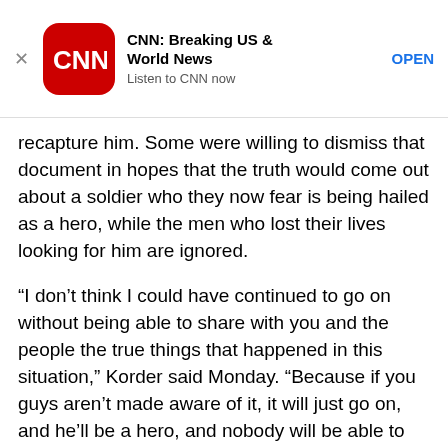[Figure (other): CNN app advertisement banner with CNN logo, title 'CNN: Breaking US & World News', subtitle 'Listen to CNN now', and OPEN button]
recapture him. Some were willing to dismiss that document in hopes that the truth would come out about a soldier who they now fear is being hailed as a hero, while the men who lost their lives looking for him are ignored.
“I don’t think I could have continued to go on without being able to share with you and the people the true things that happened in this situation,” Korder said Monday. “Because if you guys aren’t made aware of it, it will just go on, and he’ll be a hero, and nobody will be able to know the truth.”
Idaho hometown prepares for homecoming